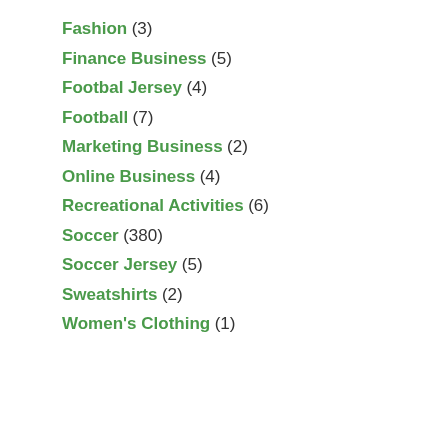Fashion (3)
Finance Business (5)
Footbal Jersey (4)
Football (7)
Marketing Business (2)
Online Business (4)
Recreational Activities (6)
Soccer (380)
Soccer Jersey (5)
Sweatshirts (2)
Women's Clothing (1)